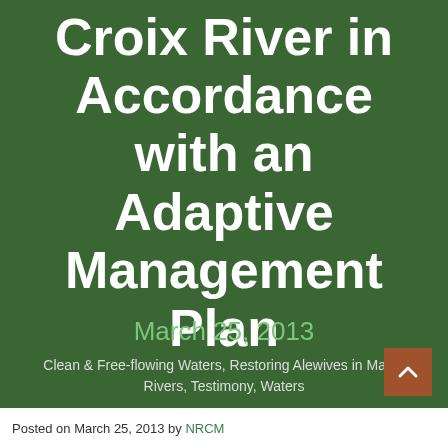Croix River in Accordance with an Adaptive Management Plan
March 25, 2013
Clean & Free-flowing Waters, Restoring Alewives in Maine Rivers, Testimony, Waters
Posted on March 25, 2013 by NRCM